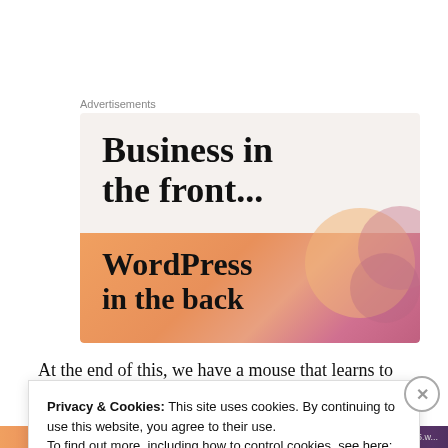Advertisements
[Figure (illustration): WordPress advertisement banner: top section shows 'Business in the front...' in large bold serif text on light beige background; bottom section has orange-to-pink gradient with 'WordPress in the back' text and decorative circles.]
At the end of this, we have a mouse that learns to run
Privacy & Cookies: This site uses cookies. By continuing to use this website, you agree to their use.
To find out more, including how to control cookies, see here: Cookie Policy
Close and accept